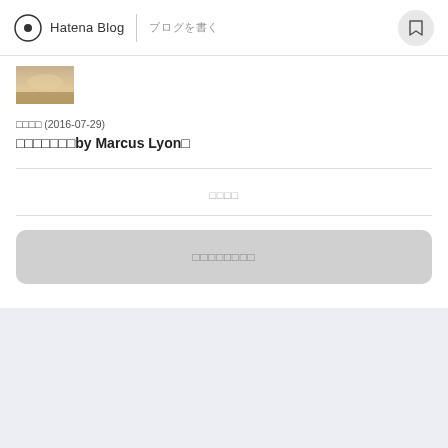Hatena Blog | ブログを書く
[Figure (photo): Small thumbnail image showing a landscape/sky scene, used as blog post preview image]
日記・ブログ (2016-07-29)
〇〇〇〇〇〇〇by Marcus Lyon〇
コメント
コメントを書く